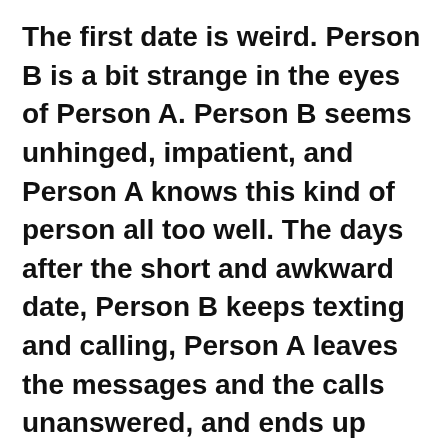The first date is weird. Person B is a bit strange in the eyes of Person A. Person B seems unhinged, impatient, and Person A knows this kind of person all too well. The days after the short and awkward date, Person B keeps texting and calling, Person A leaves the messages and the calls unanswered, and ends up blocking the phone number. “Person B” will always remain this menacing ghost on Person A’s contact list.
Years later, Person A signs up for Clubhouse. Person A does not like the idea of giving the app access to their contact list, but everyone else does it, so what could go wrong? Clubhouse tells Person A that 25 people from that contact list are registered on Clubhouse. On that list: Person